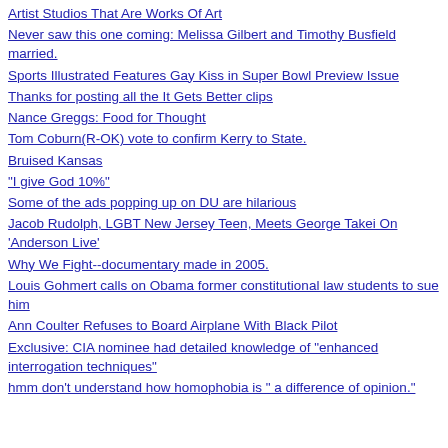Artist Studios That Are Works Of Art
Never saw this one coming: Melissa Gilbert and Timothy Busfield married.
Sports Illustrated Features Gay Kiss in Super Bowl Preview Issue
Thanks for posting all the It Gets Better clips
Nance Greggs: Food for Thought
Tom Coburn(R-OK) vote to confirm Kerry to State.
Bruised Kansas
"I give God 10%"
Some of the ads popping up on DU are hilarious
Jacob Rudolph, LGBT New Jersey Teen, Meets George Takei On 'Anderson Live'
Why We Fight--documentary made in 2005.
Louis Gohmert calls on Obama former constitutional law students to sue him
Ann Coulter Refuses to Board Airplane With Black Pilot
Exclusive: CIA nominee had detailed knowledge of "enhanced interrogation techniques"
hmm don't understand how homophobia is " a difference of opinion."